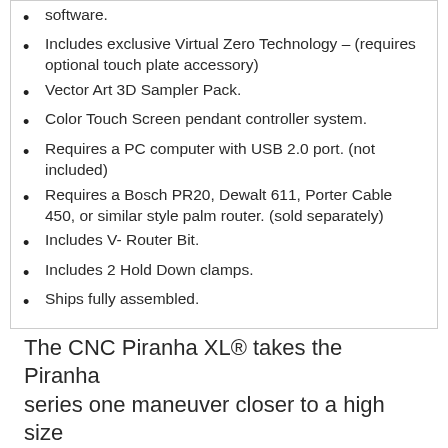software.
Includes exclusive Virtual Zero Technology – (requires optional touch plate accessory)
Vector Art 3D Sampler Pack.
Color Touch Screen pendant controller system.
Requires a PC computer with USB 2.0 port. (not included)
Requires a Bosch PR20, Dewalt 611, Porter Cable 450, or similar style palm router. (sold separately)
Includes V- Router Bit.
Includes 2 Hold Down clamps.
Ships fully assembled.
The CNC Piranha XL® takes the Piranha series one maneuver closer to a high size